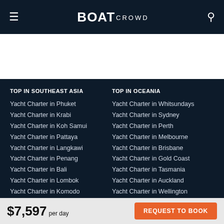BOAT CROWD
TOP IN SOUTHEAST ASIA
Yacht Charter in Phuket
Yacht Charter in Krabi
Yacht Charter in Koh Samui
Yacht Charter in Pattaya
Yacht Charter in Langkawi
Yacht Charter in Penang
Yacht Charter in Bali
Yacht Charter in Lombok
Yacht Charter in Komodo
Yacht Charter in Raja Ampat
Yacht Charter in Cebu
Yacht Charter in Palawan
TOP IN OCEANIA
Yacht Charter in Whitsundays
Yacht Charter in Sydney
Yacht Charter in Perth
Yacht Charter in Melbourne
Yacht Charter in Brisbane
Yacht Charter in Gold Coast
Yacht Charter in Tasmania
Yacht Charter in Auckland
Yacht Charter in Wellington
Yacht Charter in Fiji
Yacht Charter in Bora Bora
Yacht Charter in Tahiti
$7,597 per day
REQUEST TO BOOK